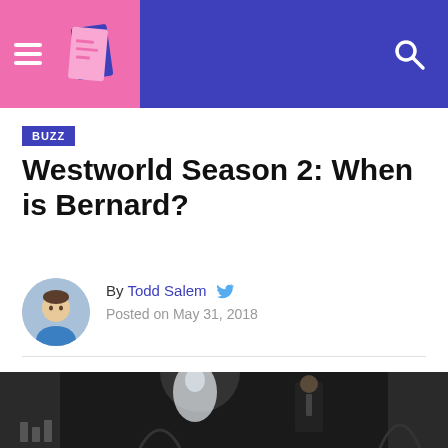BUZZ — Westworld Season 2: When is Bernard? article page header with navigation
BUZZ
Westworld Season 2: When is Bernard?
By Todd Salem — Posted on May 31, 2018
[Figure (photo): A man in a dark suit stands in a dimly lit industrial room next to a translucent white humanoid sculpture/mannequin. The scene appears to be from the TV show Westworld.]